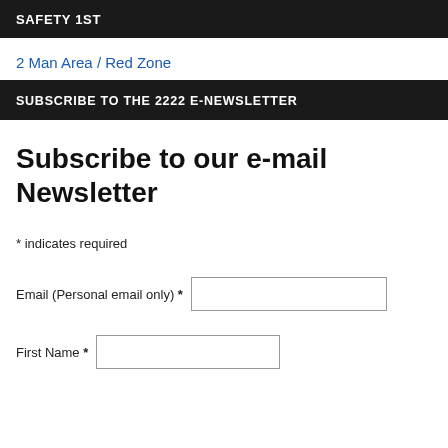SAFETY 1ST
2 Man Area / Red Zone
SUBSCRIBE TO THE 2222 E-NEWSLETTER
Subscribe to our e-mail Newsletter
* indicates required
Email (Personal email only) *
First Name *